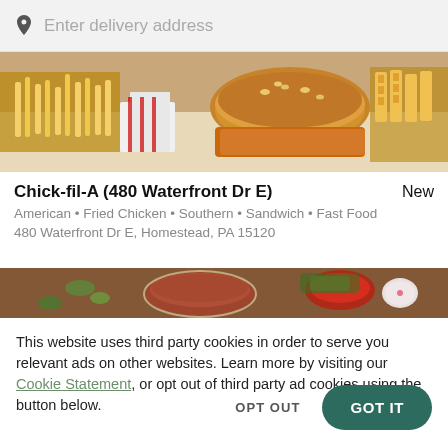Enter delivery address
[Figure (photo): Food photo showing fries, burger bun, and fast food items on a table]
Chick-fil-A (480 Waterfront Dr E)
New
American • Fried Chicken • Southern • Sandwich • Fast Food
480 Waterfront Dr E, Homestead, PA 15120
[Figure (photo): Food photo showing a red sauce dish and various food items on a table]
This website uses third party cookies in order to serve you relevant ads on other websites. Learn more by visiting our Cookie Statement, or opt out of third party ad cookies using the button below.
OPT OUT
GOT IT